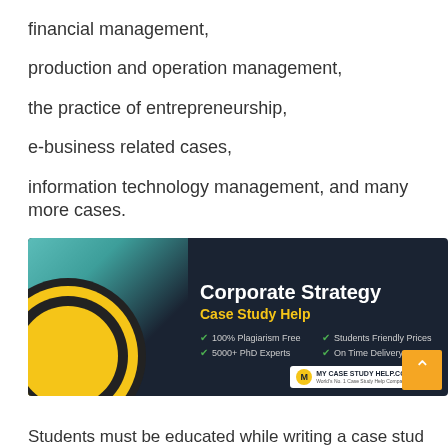financial management,
production and operation management,
the practice of entrepreneurship,
e-business related cases,
information technology management, and many more cases.
[Figure (infographic): Corporate Strategy Case Study Help banner with dark background, teal accent, dart/target imagery on left, white bold title 'Corporate Strategy', yellow subtitle 'Case Study Help', four feature bullets: 100% Plagiarism Free, Students Friendly Prices, 5000+ PhD Experts, On Time Delivery, and MY CASE STUDY HELP.COM logo badge.]
Students must be educated while writing a case stud